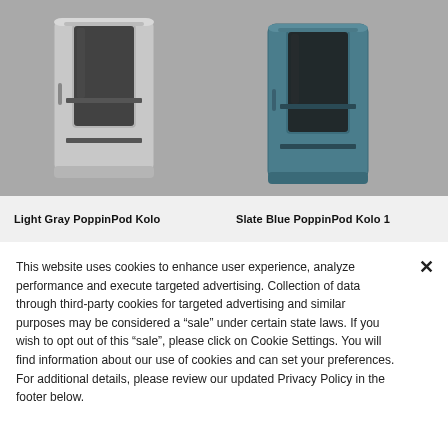[Figure (photo): Two office phone booth pods side by side on a gray background. Left pod is light gray (PoppinPod Kolo), right pod is slate blue (PoppinPod Kolo 1). Both are tall rectangular enclosures with glass door panels, interior shelving, and dark interiors.]
Light Gray PoppinPod Kolo
Slate Blue PoppinPod Kolo 1
This website uses cookies to enhance user experience, analyze performance and execute targeted advertising. Collection of data through third-party cookies for targeted advertising and similar purposes may be considered a “sale” under certain state laws. If you wish to opt out of this “sale”, please click on Cookie Settings. You will find information about our use of cookies and can set your preferences. For additional details, please review our updated Privacy Policy in the footer below.